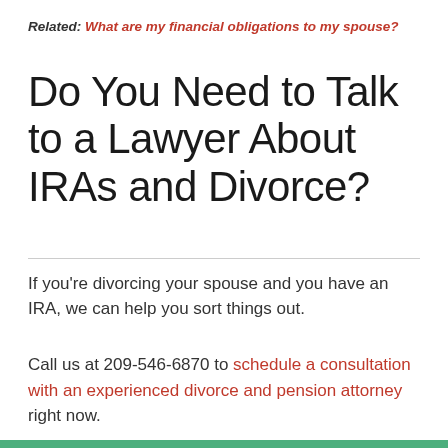Related: What are my financial obligations to my spouse?
Do You Need to Talk to a Lawyer About IRAs and Divorce?
If you're divorcing your spouse and you have an IRA, we can help you sort things out.
Call us at 209-546-6870 to schedule a consultation with an experienced divorce and pension attorney right now.